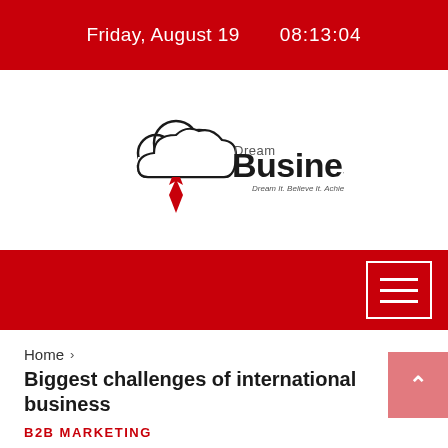Friday, August 19    08:13:04
[Figure (logo): Dream Business logo with cloud shape and red tie, tagline: Dream It. Believe It. Achieve It.]
Home > Biggest challenges of international business
Biggest challenges of international business
B2B MARKETING